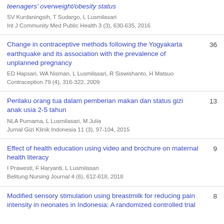teenagers' overweight/obesity status
SV Kurdaningsih, T Sudargo, L Lusmilasari
Int J Community Med Public Health 3 (3), 630-635, 2016
Change in contraceptive methods following the Yogyakarta earthquake and its association with the prevalence of unplanned pregnancy
ED Hapsari, WA Nisman, L Lusmilasari, R Siswishanto, H Matsuo
Contraception 79 (4), 316-322, 2009
36
Perilaku orang tua dalam pemberian makan dan status gizi anak usia 2-5 tahun
NLA Purnama, L Lusmilasari, M Julia
Jurnal Gizi Klinik Indonesia 11 (3), 97-104, 2015
13
Effect of health education using video and brochure on maternal health literacy
I Prawesti, F Haryanti, L Lusmilasari
Belitung Nursing Journal 4 (6), 612-618, 2018
9
Modified sensory stimulation using breastmilk for reducing pain intensity in neonates in Indonesia: A randomized controlled trial
8